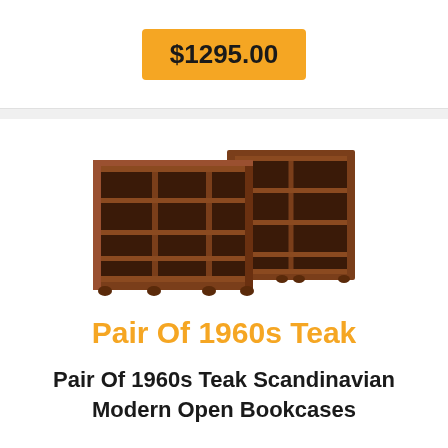$1295.00
[Figure (photo): Pair of 1960s teak Scandinavian modern open bookcases, shown side by side at a slight angle. The bookcases are dark teak wood with multiple open shelves arranged in a grid pattern, resting on small round feet.]
Pair Of 1960s Teak
Pair Of 1960s Teak Scandinavian Modern Open Bookcases